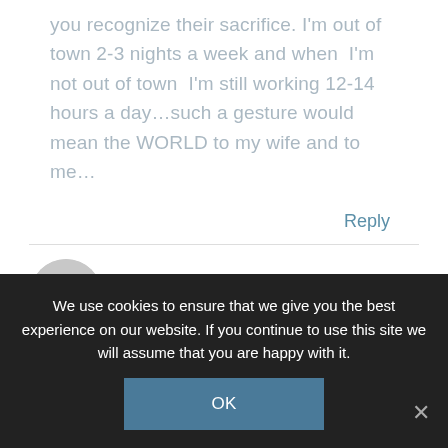you recognize their sacrifice. I'm out of town 2-3 nights a week and when I'm not out of town I'm still working 12-14 hours a day...such a gesture would mean the WORLD to my wife and to me...
Reply
RLAWRENCEJR
JUNE 22, 2012 AT 1:03 PM
We use cookies to ensure that we give you the best experience on our website. If you continue to use this site we will assume that you are happy with it.
OK